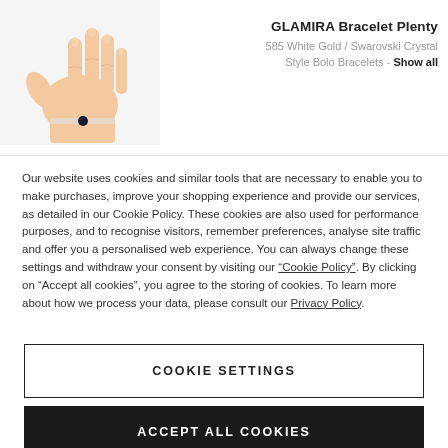[Figure (photo): Illustration of a hand wearing a bracelet with a dark gemstone, shown from above at an angle.]
GLAMIRA Bracelet Plenty
585 White Gold / Swarovski Crystal
Style Bolo Bracelets - Show all
Our website uses cookies and similar tools that are necessary to enable you to make purchases, improve your shopping experience and provide our services, as detailed in our Cookie Policy. These cookies are also used for performance purposes, and to recognise visitors, remember preferences, analyse site traffic and offer you a personalised web experience. You can always change these settings and withdraw your consent by visiting our “Cookie Policy”. By clicking on “Accept all cookies”, you agree to the storing of cookies. To learn more about how we process your data, please consult our Privacy Policy.
COOKIE SETTINGS
ACCEPT ALL COOKIES